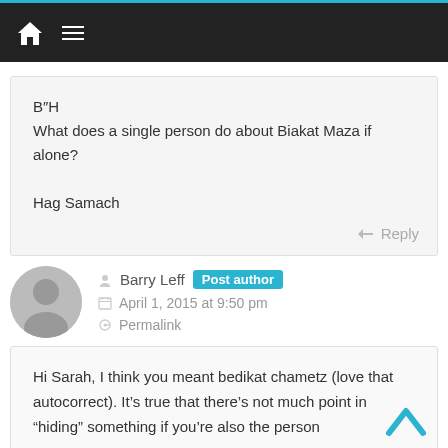Navigation bar with home and menu icons
B"H
What does a single person do about Biakat Maza if alone?

Hag Samach
Reply
Barry Leff  Post author
April 1, 2015 at 9:50 pm
Permalink
Hi Sarah, I think you meant bedikat chametz (love that autocorrect). It’s true that there’s not much point in “hiding” something if you’re also the person